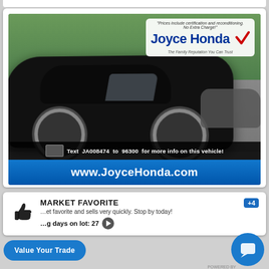[Figure (photo): Black Honda sedan in dealership lot with Joyce Honda branding overlay, trees in background. Bottom bar shows 'Text JA008474 to 96300 for more info on this vehicle!' and blue bar with www.JoyceHonda.com]
MARKET FAVORITE — This vehicle is a market favorite and sells very quickly. Stop by today! Avg days on lot: 27
+4
Value Your Trade
POWERED BY